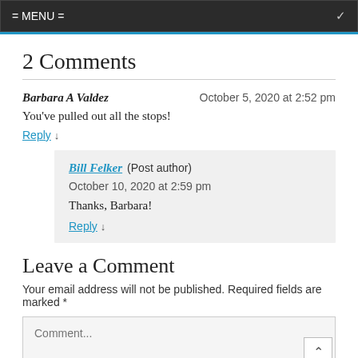= MENU =
2 Comments
Barbara A Valdez — October 5, 2020 at 2:52 pm
You've pulled out all the stops!
Reply ↓
Bill Felker (Post author) October 10, 2020 at 2:59 pm
Thanks, Barbara!
Reply ↓
Leave a Comment
Your email address will not be published. Required fields are marked *
Comment...